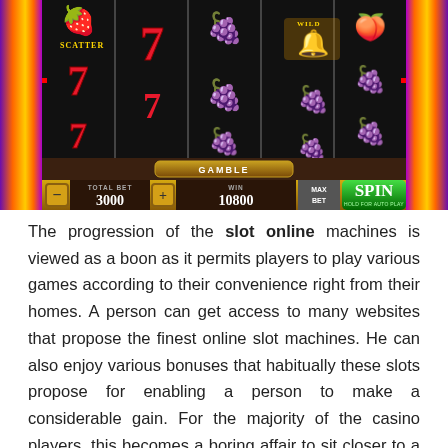[Figure (screenshot): Online slot machine game screenshot showing reels with fruit symbols (strawberry, grapes, bell, plum), SCATTER and WILD labels, red 7 symbols, a GAMBLE button, and bottom controls showing TOTAL BET 3000, WIN 10800, MAX BET button, and green SPIN button.]
The progression of the slot online machines is viewed as a boon as it permits players to play various games according to their convenience right from their homes. A person can get access to many websites that propose the finest online slot machines. He can also enjoy various bonuses that habitually these slots propose for enabling a person to make a considerable gain. For the majority of the casino players, this becomes a boring affair to sit closer to a slot machine for playing the games.